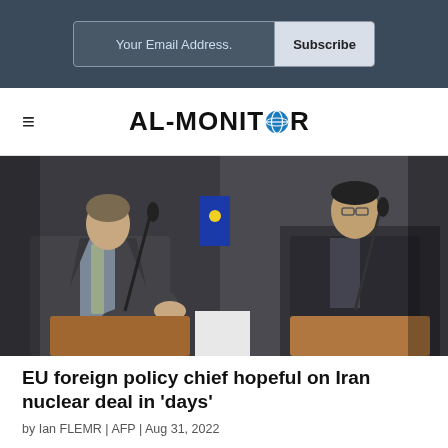Your Email Address. Subscribe
[Figure (logo): AL-MONITOR logo with globe icon replacing the O]
[Figure (photo): Two men in suits at podiums with microphones, an EU flag visible in the background, one gesturing with hands]
EU foreign policy chief hopeful on Iran nuclear deal in 'days'
by Ian FLEMR | AFP | Aug 31, 2022